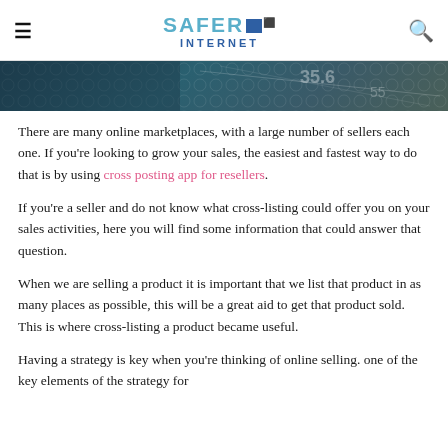SAFER INTERNET
[Figure (photo): Dark teal/blue financial or stock market themed banner image with grid patterns and numbers visible]
There are many online marketplaces, with a large number of sellers each one. If you're looking to grow your sales, the easiest and fastest way to do that is by using cross posting app for resellers.
If you're a seller and do not know what cross-listing could offer you on your sales activities, here you will find some information that could answer that question.
When we are selling a product it is important that we list that product in as many places as possible, this will be a great aid to get that product sold. This is where cross-listing a product became useful.
Having a strategy is key when you're thinking of online selling. one of the key elements of the strategy for...